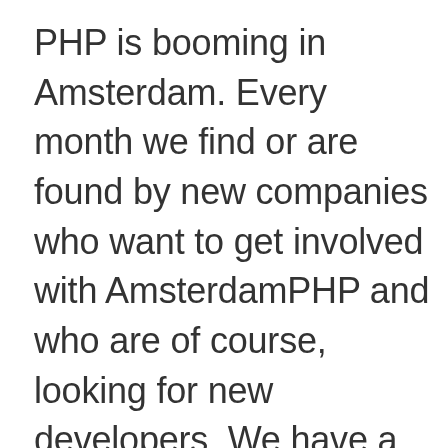PHP is booming in Amsterdam. Every month we find or are found by new companies who want to get involved with AmsterdamPHP and who are of course, looking for new developers. We have a great and wonderful set of passionate guys, and more and more have stepped up to help and get involved with AmsterdamPHP.